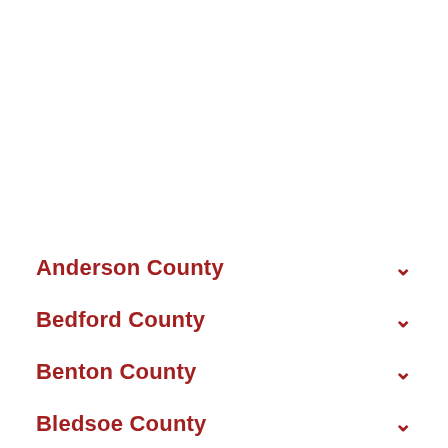Anderson County
Bedford County
Benton County
Bledsoe County
Blount County
Bradley County
Campbell County